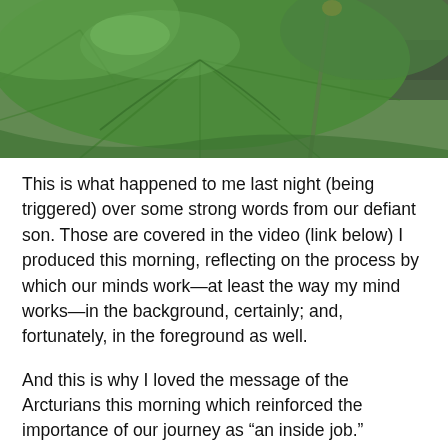[Figure (photo): Close-up photograph of large green lotus or water lily leaves with stems, taken outdoors with blurred background]
This is what happened to me last night (being triggered) over some strong words from our defiant son. Those are covered in the video (link below) I produced this morning, reflecting on the process by which our minds work—at least the way my mind works—in the background, certainly; and, fortunately, in the foreground as well.
And this is why I loved the message of the Arcturians this morning which reinforced the importance of our journey as “an inside job.”
I simply couldn’t agree more.